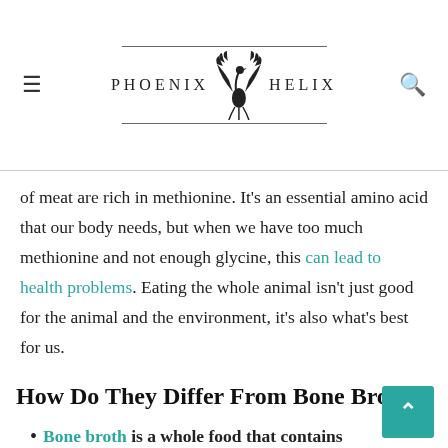Phoenix Helix
of meat are rich in methionine. It’s an essential amino acid that our body needs, but when we have too much methionine and not enough glycine, this can lead to health problems. Eating the whole animal isn’t just good for the animal and the environment, it’s also what’s best for us.
How Do They Differ From Bone Broth?
Bone broth is a whole food that contains